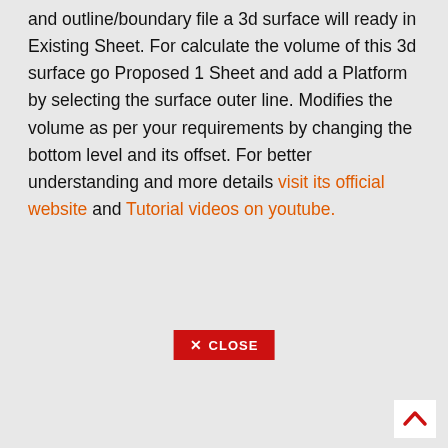and outline/boundary file a 3d surface will ready in Existing Sheet. For calculate the volume of this 3d surface go Proposed 1 Sheet and add a Platform by selecting the surface outer line. Modifies the volume as per your requirements by changing the bottom level and its offset. For better understanding and more details visit its official website and Tutorial videos on youtube.
[Figure (screenshot): A red CLOSE button with an X icon and the text CLOSE in white on a red background]
[Figure (other): A white scroll-to-top arrow button in the bottom right corner, showing an upward-pointing red chevron]